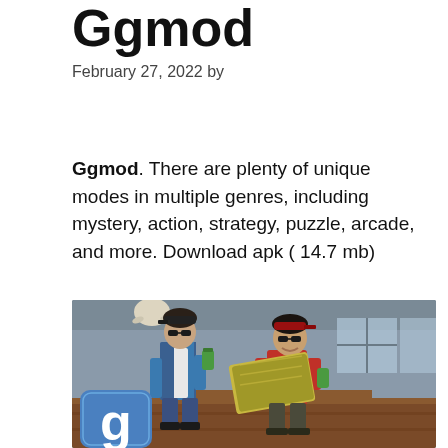Ggmod
February 27, 2022 by
Ggmod. There are plenty of unique modes in multiple genres, including mystery, action, strategy, puzzle, arcade, and more. Download apk ( 14.7 mb)
[Figure (photo): Screenshot from Garry's Mod showing two animated characters sitting on wooden steps. One character in blue vest with sunglasses holds a green item; another in red shirt and cap holds a large yellow-green item. A Garry's Mod logo (blue square with white letter g) appears in the lower left corner.]